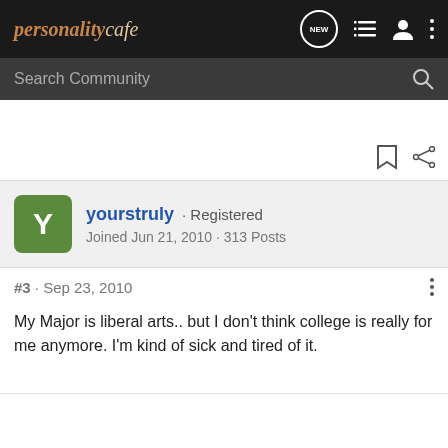personalitycafe
Search Community
yourstruly · Registered
Joined Jun 21, 2010 · 313 Posts
#3 · Sep 23, 2010
My Major is liberal arts.. but I don't think college is really for me anymore. I'm kind of sick and tired of it.